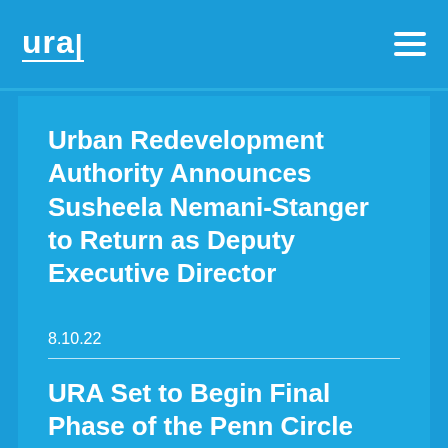ura
Urban Redevelopment Authority Announces Susheela Nemani-Stanger to Return as Deputy Executive Director
Learn More
8.10.22
URA Set to Begin Final Phase of the Penn Circle Conversion Project